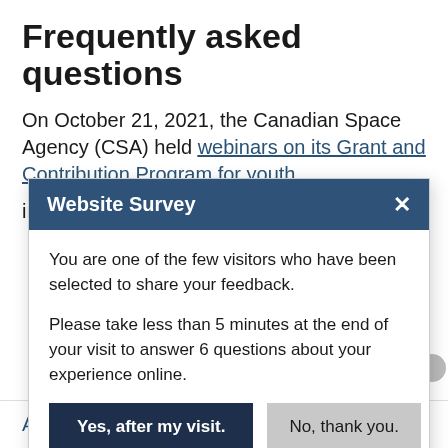Frequently asked questions
On October 21, 2021, the Canadian Space Agency (CSA) held webinars on its Grant and Contribution Program for youth i…
Website Survey
You are one of the few visitors who have been selected to share your feedback.
Please take less than 5 minutes at the end of your visit to answer 6 questions about your experience online.
Yes, after my visit.   No, thank you.
Announcement of Opportunity (AO)